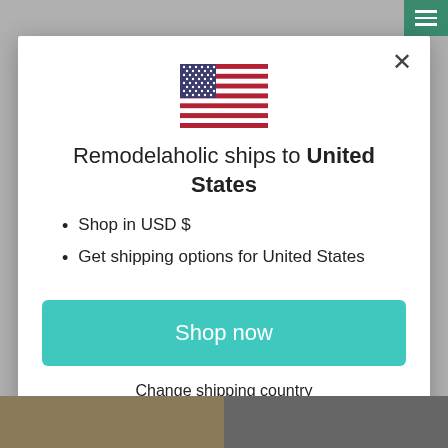[Figure (screenshot): Modal dialog on a website showing US flag, shipping information, and shop now button]
Remodelaholic ships to United States
Shop in USD $
Get shipping options for United States
Shop now
Change shipping country